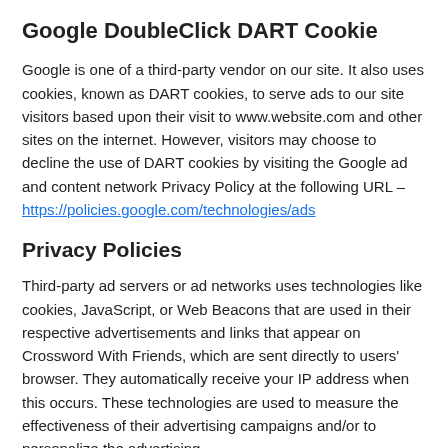Google DoubleClick DART Cookie
Google is one of a third-party vendor on our site. It also uses cookies, known as DART cookies, to serve ads to our site visitors based upon their visit to www.website.com and other sites on the internet. However, visitors may choose to decline the use of DART cookies by visiting the Google ad and content network Privacy Policy at the following URL – https://policies.google.com/technologies/ads
Privacy Policies
Third-party ad servers or ad networks uses technologies like cookies, JavaScript, or Web Beacons that are used in their respective advertisements and links that appear on Crossword With Friends, which are sent directly to users' browser. They automatically receive your IP address when this occurs. These technologies are used to measure the effectiveness of their advertising campaigns and/or to personalize the advertising experience you receive on their websites.